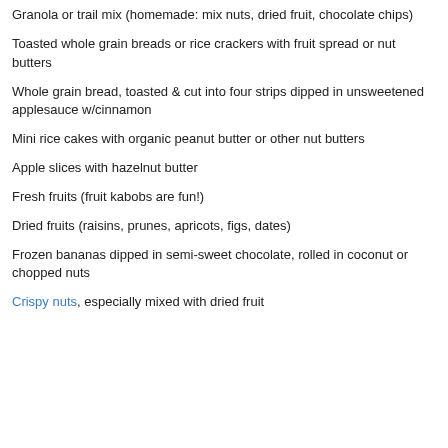Granola or trail mix (homemade: mix nuts, dried fruit, chocolate chips)
Toasted whole grain breads or rice crackers with fruit spread or nut butters
Whole grain bread, toasted & cut into four strips dipped in unsweetened applesauce w/cinnamon
Mini rice cakes with organic peanut butter or other nut butters
Apple slices with hazelnut butter
Fresh fruits (fruit kabobs are fun!)
Dried fruits (raisins, prunes, apricots, figs, dates)
Frozen bananas dipped in semi-sweet chocolate, rolled in coconut or chopped nuts
Crispy nuts, especially mixed with dried fruit